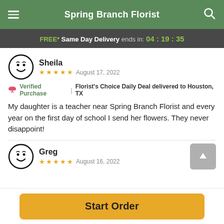Spring Branch Florist
FREE* Same Day Delivery ends in: 04:19:35
Sheila
★★★★★  August 17, 2022
🌹 Verified Purchase | Florist's Choice Daily Deal delivered to Houston, TX
My daughter is a teacher near Spring Branch Florist and every year on the first day of school I send her flowers. They never disappoint!
Greg
★★★★★  August 16, 2022
Start Order